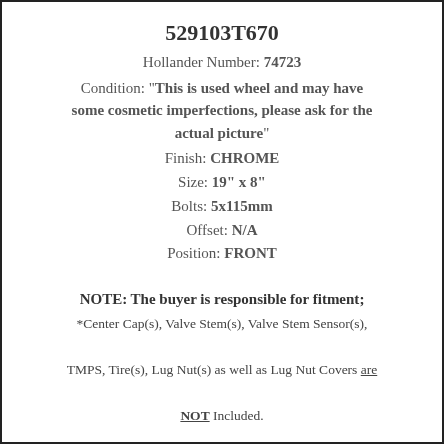529103T670
Hollander Number: 74723
Condition: "This is used wheel and may have some cosmetic imperfections, please ask for the actual picture"
Finish: CHROME
Size: 19" x 8"
Bolts: 5x115mm
Offset: N/A
Position: FRONT
NOTE: The buyer is responsible for fitment; *Center Cap(s), Valve Stem(s), Valve Stem Sensor(s), TMPS, Tire(s), Lug Nut(s) as well as Lug Nut Covers are NOT Included.